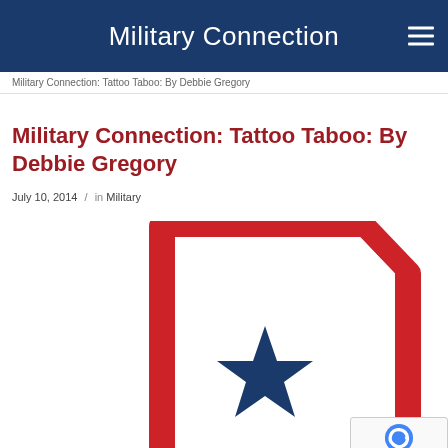Military Connection
Military Connection: Tattoo Taboo: By Debbie Gregory
Military Connection: Tattoo Taboo: By Debbie Gregory
July 10, 2014 / in Military
[Figure (logo): Military Connection badge logo with red pentagon-house shape outline and blue star in center on white background]